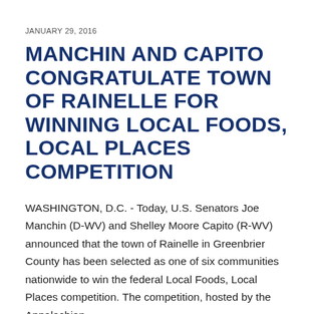JANUARY 29, 2016
MANCHIN AND CAPITO CONGRATULATE TOWN OF RAINELLE FOR WINNING LOCAL FOODS, LOCAL PLACES COMPETITION
WASHINGTON, D.C. - Today, U.S. Senators Joe Manchin (D-WV) and Shelley Moore Capito (R-WV) announced that the town of Rainelle in Greenbrier County has been selected as one of six communities nationwide to win the federal Local Foods, Local Places competition. The competition, hosted by the Appalachian